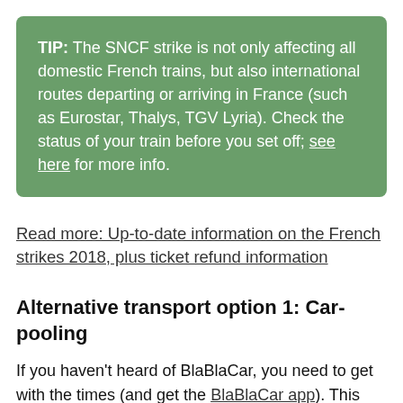TIP: The SNCF strike is not only affecting all domestic French trains, but also international routes departing or arriving in France (such as Eurostar, Thalys, TGV Lyria). Check the status of your train before you set off; see here for more info.
Read more: Up-to-date information on the French strikes 2018, plus ticket refund information
Alternative transport option 1: Car-pooling
If you haven't heard of BlaBlaCar, you need to get with the times (and get the BlaBlaCar app). This car-pooling service (covoiturage in French), which pairs travellers with drivers who have empty seats in their cars, is France's number one car ride-sharing app and among its fastest-